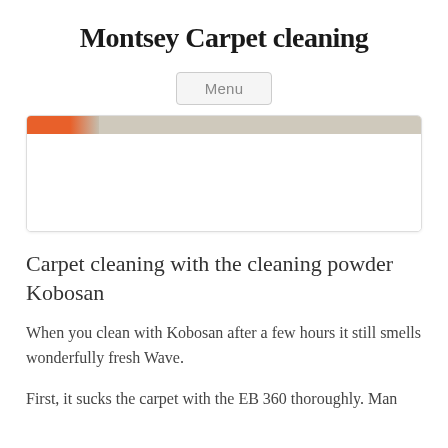Montsey Carpet cleaning
[Figure (screenshot): Navigation menu button labeled 'Menu' with a rounded rectangle border]
[Figure (photo): Partial image showing carpet cleaning equipment or carpet, with an orange and tan color strip at the top and a white area below, inside a bordered rounded rectangle card]
Carpet cleaning with the cleaning powder Kobosan
When you clean with Kobosan after a few hours it still smells wonderfully fresh Wave.
First, it sucks the carpet with the EB 360 thoroughly. Man